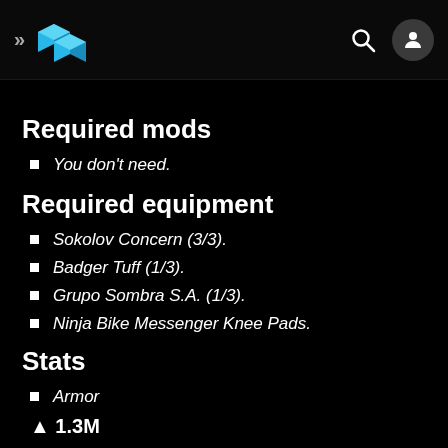>> [logo] [search] [avatar]
Required mods
You don't need.
Required equipment
Sokolov Concern (3/3).
Badger Tuff (1/3).
Grupo Sombra S.A. (1/3).
Ninja Bike Messenger Knee Pads.
Stats
Armor
1.3M